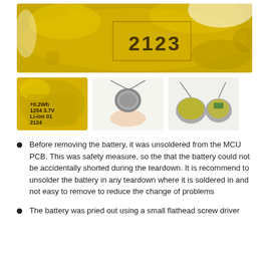[Figure (photo): Close-up photo of a yellow lithium-ion battery with black text markings including '2123' visible on the surface]
[Figure (photo): Three thumbnail photos: left shows battery label reading '+0.2Wh 1254 3.7V Li-ion 01 2124'; center shows the battery unsoldered with wires attached held by a hand; right shows the battery removed showing two coin cell halves with circuit board]
Before removing the battery, it was unsoldered from the MCU PCB. This was safety measure, so the that the battery could not be accidentally shorted during the teardown. It is recommend to unsolder the battery in any teardown where it is soldered in and not easy to remove to reduce the change of problems
The battery was pried out using a small flathead screw driver